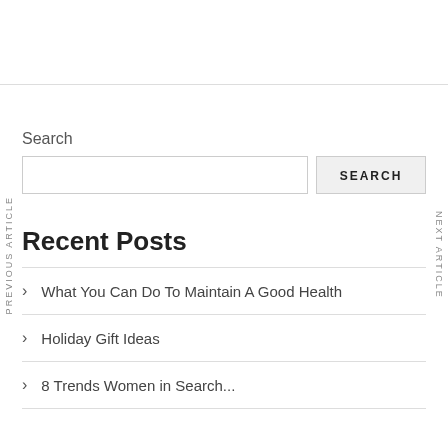PREVIOUS ARTICLE
NEXT ARTICLE
Search
Recent Posts
What You Can Do To Maintain A Good Health
Holiday Gift Ideas
8 Trends Women in Search...